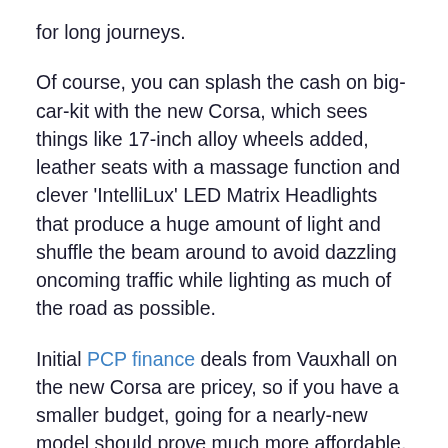for long journeys.
Of course, you can splash the cash on big-car-kit with the new Corsa, which sees things like 17-inch alloy wheels added, leather seats with a massage function and clever 'IntelliLux' LED Matrix Headlights that produce a huge amount of light and shuffle the beam around to avoid dazzling oncoming traffic while lighting as much of the road as possible.
Initial PCP finance deals from Vauxhall on the new Corsa are pricey, so if you have a smaller budget, going for a nearly-new model should prove much more affordable. As the previous Corsa wasn't a particularly good car, you're better off choosing a low-mileage Ford Fiesta until more of the latest Corsa are available used, unless you want to cut costs as much as possible, in which case a top value used Vauxhall Corsa could make